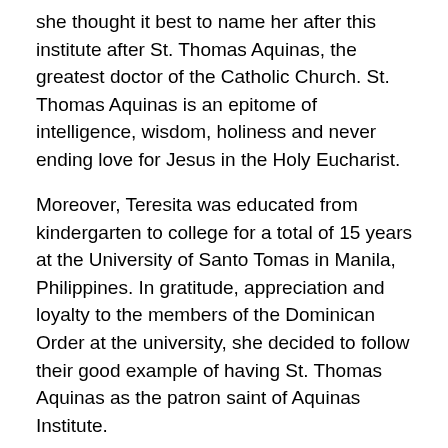she thought it best to name her after this institute after St. Thomas Aquinas, the greatest doctor of the Catholic Church. St. Thomas Aquinas is an epitome of intelligence, wisdom, holiness and never ending love for Jesus in the Holy Eucharist.
Moreover, Teresita was educated from kindergarten to college for a total of 15 years at the University of Santo Tomas in Manila, Philippines. In gratitude, appreciation and loyalty to the members of the Dominican Order at the university, she decided to follow their good example of having St. Thomas Aquinas as the patron saint of Aquinas Institute.
The founding board of directors of Aquinas Institute included Fr. Paul Pang of Taiwan; Fr. Lukose Cheruvalel of India; Fr. John Gibson of Sierra Leone; Dean Francisco Reyes of the Philippines; Nicolas Tumbelaka who later on was ordained as a priest;